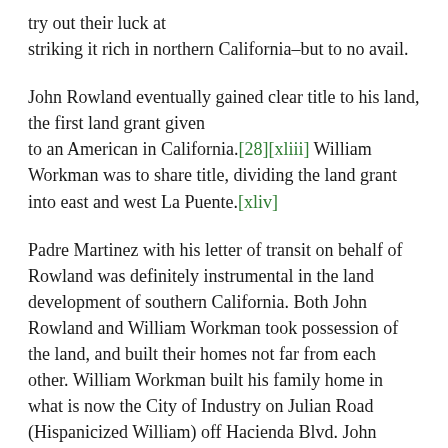try out their luck at striking it rich in northern California–but to no avail.
John Rowland eventually gained clear title to his land, the first land grant given to an American in California.[28][xliii] William Workman was to share title, dividing the land grant into east and west La Puente.[xliv]
Padre Martinez with his letter of transit on behalf of Rowland was definitely instrumental in the land development of southern California. Both John Rowland and William Workman took possession of the land, and built their homes not far from each other. William Workman built his family home in what is now the City of Industry on Julian Road (Hispanicized William) off Hacienda Blvd. John Rowland in set up his ranch near what became Rowland Heights.[29][xlv] The La Puente Rancho that Roland and Workman divided between themselves has been further sub-divided into a myriad of